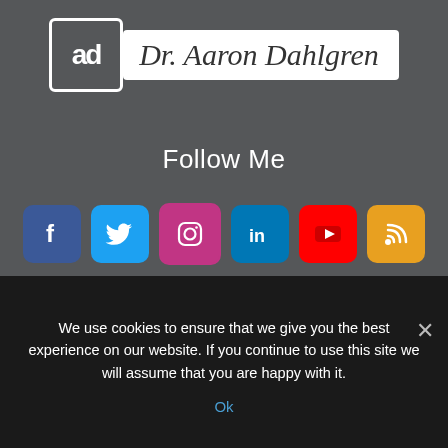[Figure (logo): Dr. Aaron Dahlgren logo with 'ad' in a white-bordered box and cursive name text on white background]
Follow Me
[Figure (infographic): Row of social media icons: Facebook, Twitter, Instagram, LinkedIn, YouTube, RSS]
We use cookies to ensure that we give you the best experience on our website. If you continue to use this site we will assume that you are happy with it.
Ok